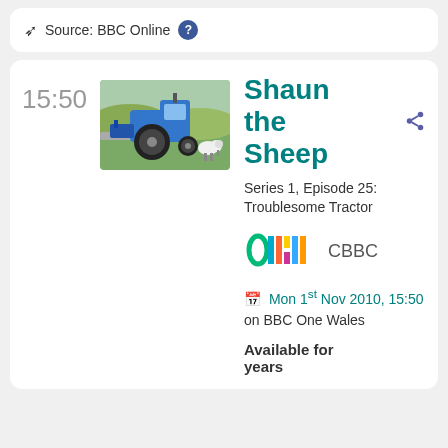Source: BBC Online ?
15:50
[Figure (photo): Shaun the Sheep episode still showing a blue tractor in a farm field with a sheep nearby]
Shaun the Sheep
Series 1, Episode 25: Troublesome Tractor
[Figure (logo): CBBC channel logo]
CBBC
Mon 1st Nov 2010, 15:50 on BBC One Wales
Available for years